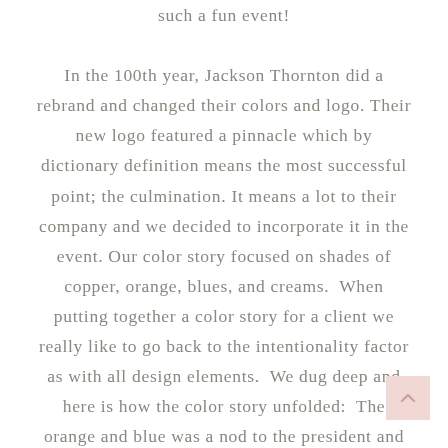such a fun event!

In the 100th year, Jackson Thornton did a rebrand and changed their colors and logo. Their new logo featured a pinnacle which by dictionary definition means the most successful point; the culmination. It means a lot to their company and we decided to incorporate it in the event. Our color story focused on shades of copper, orange, blues, and creams.  When putting together a color story for a client we really like to go back to the intentionality factor as with all design elements.  We dug deep and here is how the color story unfolded:  The orange and blue was a nod to the president and managing